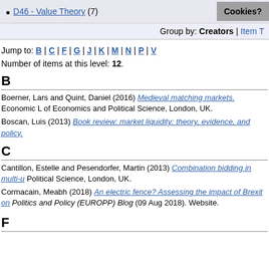D46 - Value Theory (7)
Group by: Creators | Item
Jump to: B | C | F | G | J | K | M | N | P | V
Number of items at this level: 12.
B
Boerner, Lars and Quint, Daniel (2016) Medieval matching markets. Economic ... of Economics and Political Science, London, UK.
Boscan, Luis (2013) Book review: market liquidity: theory, evidence, and policy.
C
Cantillon, Estelle and Pesendorfer, Martin (2013) Combination bidding in multi-u... Political Science, London, UK.
Cormacain, Meabh (2018) An electric fence? Assessing the impact of Brexit on... Politics and Policy (EUROPP) Blog (09 Aug 2018). Website.
F